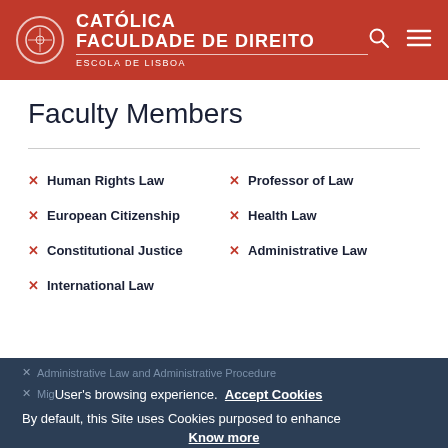CATOLICA FACULDADE DE DIREITO ESCOLA DE LISBOA
Faculty Members
Human Rights Law
Professor of Law
European Citizenship
Health Law
Constitutional Justice
Administrative Law
International Law
Administrative Law and Administrative Procedure
Migration Law
By default, this Site uses Cookies purposed to enhance User's browsing experience. Accept Cookies Know more